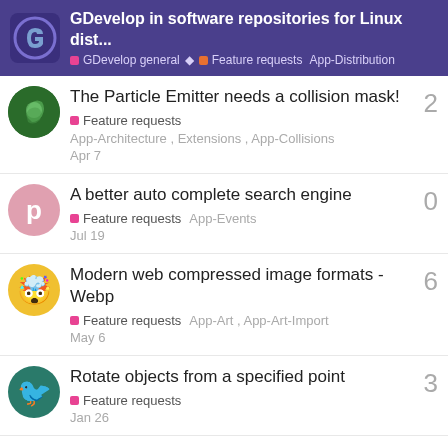GDevelop in software repositories for Linux dist... | GDevelop general | Feature requests | App-Distribution
The Particle Emitter needs a collision mask!
Feature requests | App-Architecture, Extensions, App-Collisions | Apr 7 | 2
A better auto complete search engine
Feature requests | App-Events | Jul 19 | 0
Modern web compressed image formats - Webp
Feature requests | App-Art, App-Art-Import | May 6 | 6
Rotate objects from a specified point
Feature requests | Jan 26 | 3
Want to read more? Browse other topics in Feature requests or view latest topics.